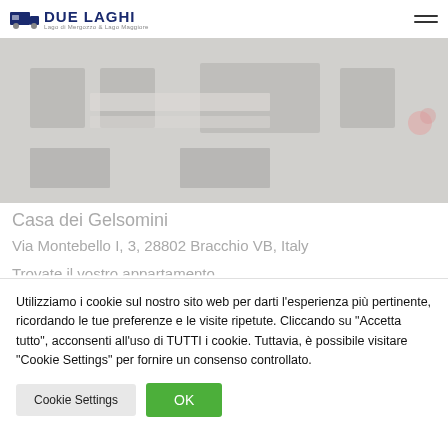Due Laghi – Lago di Mergozzo & Lago Maggiore
[Figure (photo): Exterior photo of Casa dei Gelsomini building, grey-toned facade with shuttered windows and signage, muted/faded appearance]
Casa dei Gelsomini
Via Montebello I, 3, 28802 Bracchio VB, Italy
Trovate il vostro...
Utilizziamo i cookie sul nostro sito web per darti l'esperienza più pertinente, ricordando le tue preferenze e le visite ripetute. Cliccando su "Accetta tutto", acconsenti all'uso di TUTTI i cookie. Tuttavia, è possibile visitare "Cookie Settings" per fornire un consenso controllato.
Cookie Settings | OK